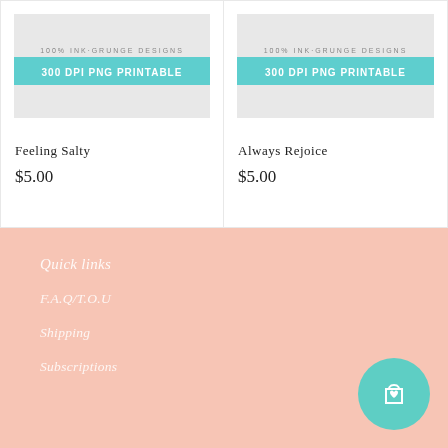[Figure (photo): Product image for Feeling Salty - 300 DPI PNG Printable with teal banner]
Feeling Salty
$5.00
[Figure (photo): Product image for Always Rejoice - 300 DPI PNG Printable with teal banner]
Always Rejoice
$5.00
Quick links
F.A.Q/T.O.U
Shipping
Subscriptions